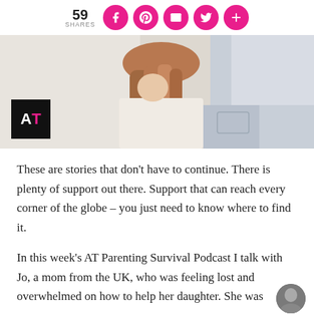59 SHARES
[Figure (photo): A girl with long brown hair seen from behind, wearing a light-colored top with lace detail and jeans. Top-left corner shows the AT logo (black square with white A and pink T).]
These are stories that don't have to continue. There is plenty of support out there. Support that can reach every corner of the globe – you just need to know where to find it.
In this week's AT Parenting Survival Podcast I talk with Jo, a mom from the UK, who was feeling lost and overwhelmed on how to help her daughter. She was